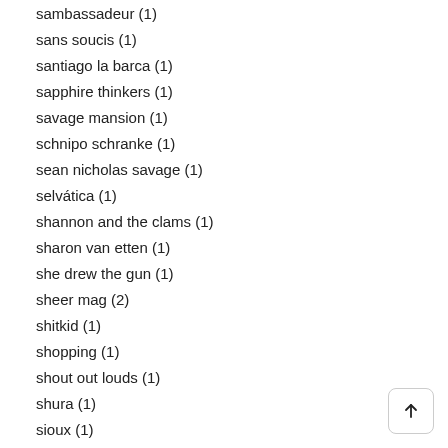sambassadeur (1)
sans soucis (1)
santiago la barca (1)
sapphire thinkers (1)
savage mansion (1)
schnipo schranke (1)
sean nicholas savage (1)
selvática (1)
shannon and the clams (1)
sharon van etten (1)
she drew the gun (1)
sheer mag (2)
shitkid (1)
shopping (1)
shout out louds (1)
shura (1)
sioux (1)